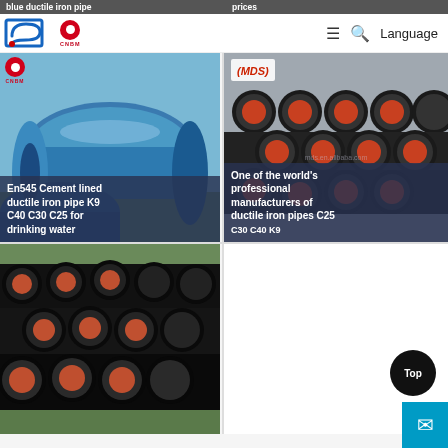[Figure (screenshot): Website header with logo (stylized S/G icon and CNBM logo), hamburger menu, search icon, and Language button]
[Figure (photo): Blue ductile iron pipe product listing thumbnail with text 'blue ductile iron pipe']
[Figure (photo): Ductile iron pipe prices thumbnail]
[Figure (photo): En545 Cement lined ductile iron pipe K9 C40 C30 C25 for drinking water - product card with CNBM logo and blue pipes photo]
[Figure (photo): One of the world's professional manufacturers of ductile iron pipes C25 C30 C40 K9 - product card with MDS logo and stacked dark iron pipes]
[Figure (photo): Stacked dark ductile iron pipes with red ends, bottom-left product card]
[Figure (photo): Blank/white bottom-right product card]